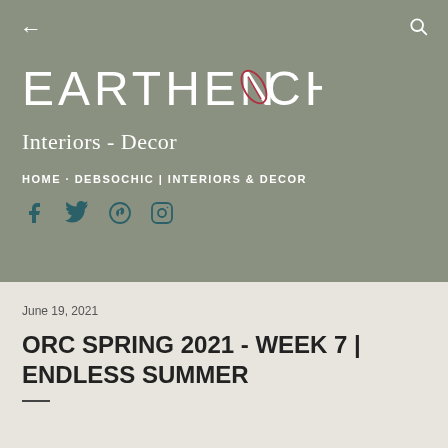← (back arrow)   (search icon)
EARTHEN ✦ CHIC
Interiors - Decor
HOME · DEBSOCHIC | INTERIORS & DECOR
[Figure (other): Social media icons: Facebook, Twitter, Pinterest, Instagram]
June 19, 2021
ORC SPRING 2021 - WEEK 7 | ENDLESS SUMMER